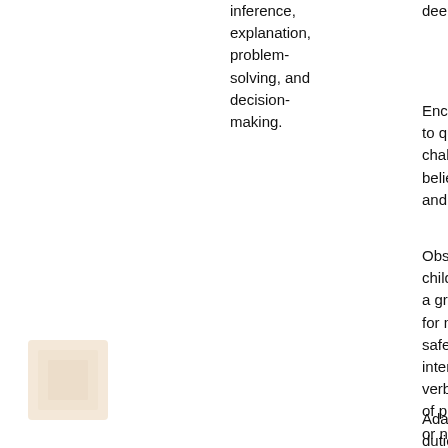inference, explanation, problem-solving, and decision-making.
deeply into co
Encourage ch to question an challenge exis beliefs, struct and practices
Observe indivi children as we a group of chi for monitoring safety, social interaction, no verbal cues on of physical ab or neglect
Adapt to cham duties and ne